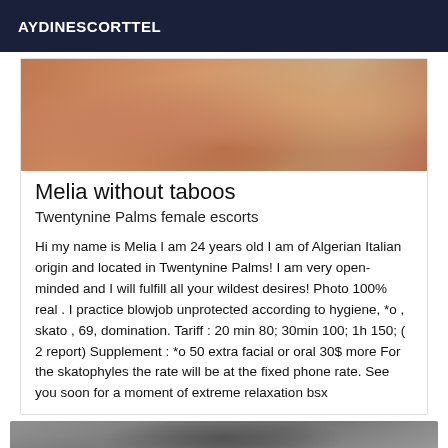AYDINESCORTTEL
[Figure (photo): Close-up photo of skin/hands in warm tones]
Melia without taboos
Twentynine Palms female escorts
Hi my name is Melia I am 24 years old I am of Algerian Italian origin and located in Twentynine Palms! I am very open-minded and I will fulfill all your wildest desires! Photo 100% real . I practice blowjob unprotected according to hygiene, *o , skato , 69, domination. Tariff : 20 min 80; 30min 100; 1h 150; ( 2 report) Supplement : *o 50 extra facial or oral 30$ more For the skatophyles the rate will be at the fixed phone rate. See you soon for a moment of extreme relaxation bsx
[Figure (photo): Black and white photo, partially visible at bottom of page]